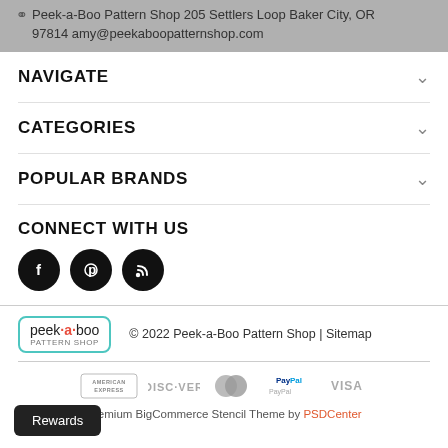Peek-a-Boo Pattern Shop 205 Settlers Loop Baker City, OR 97814 amy@peekaboopatternshop.com
NAVIGATE
CATEGORIES
POPULAR BRANDS
CONNECT WITH US
[Figure (illustration): Three social media icon buttons (Facebook, Pinterest, RSS feed) as black circles with white icons]
[Figure (logo): Peek-a-boo Pattern Shop logo: text 'peek-a-boo' with teal border and small tagline 'PATTERN SHOP']
© 2022 Peek-a-Boo Pattern Shop | Sitemap
[Figure (illustration): Payment method logos: American Express, Discover, Mastercard, PayPal, Visa]
Premium BigCommerce Stencil Theme by PSDCenter
Rewards